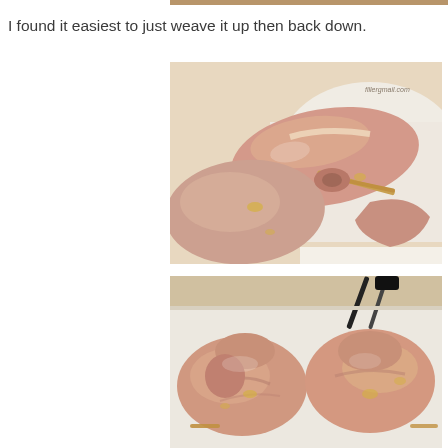I found it easiest to just weave it up then back down.
[Figure (photo): Raw chicken pieces on a white cutting board, skewered with a wooden skewer being woven through the meat, viewed from the side. Watermark reads 'fillergmail.com' in the top right corner.]
[Figure (photo): Raw chicken breast pieces on a white cutting board with a dark-handled knife visible in the upper right, showing the chicken pieces side by side after skewering.]